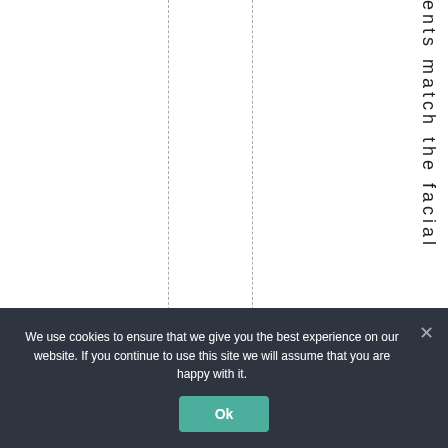[Figure (other): White page area with two dashed vertical lines dividing the page into columns, and vertical text reading 'ents match the facial' displayed character by character down the right side of the page.]
We use cookies to ensure that we give you the best experience on our website. If you continue to use this site we will assume that you are happy with it.